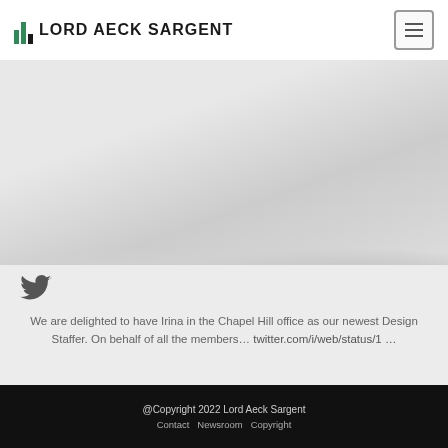LORD AECK SARGENT
[Figure (screenshot): Hero background image with muted grey landscape/hillside silhouette]
[Figure (illustration): Twitter bird icon]
We are delighted to have Irina in the Chapel Hill office as our newest Design Staffer. On behalf of all the members… twitter.com/i/web/status/1 …
@Copyright 2022 Lord Aeck Sargent
Contact  Newsroom  Copyright